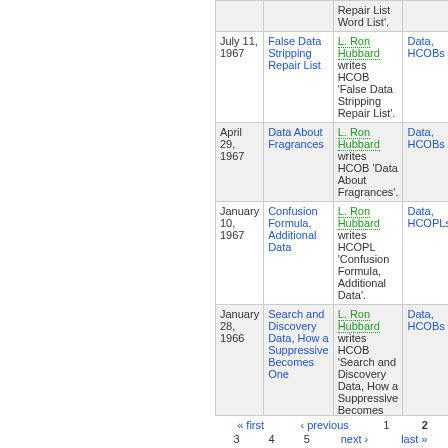| Date | Title | Description | Tags |
| --- | --- | --- | --- |
|  |  | Repair List Word List'. |  |
| July 11, 1967 | False Data Stripping Repair List | L. Ron Hubbard writes HCOB 'False Data Stripping Repair List'. | Data, HCOBs |
| April 29, 1967 | Data About Fragrances | L. Ron Hubbard writes HCOB 'Data About Fragrances'. | Data, HCOBs |
| January 10, 1967 | Confusion Formula, Additional Data | L. Ron Hubbard writes HCOPL 'Confusion Formula, Additional Data'. | Data, HCOPLs |
| January 28, 1966 | Search and Discovery Data, How a Suppressive Becomes One | L. Ron Hubbard writes HCOB 'Search and Discovery Data, How a Suppressive Becomes One'. | Data, HCOBs |
« first ‹ previous 1 2 3 4 5 next › last »